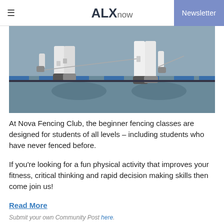ALXnow   Newsletter
[Figure (photo): Two fencers in white protective gear mid-lunge on a fencing strip, viewed from below the waist, with blue markers on the floor]
At Nova Fencing Club, the beginner fencing classes are designed for students of all levels – including students who have never fenced before.
If you're looking for a fun physical activity that improves your fitness, critical thinking and rapid decision making skills then come join us!
Read More
Submit your own Community Post here.